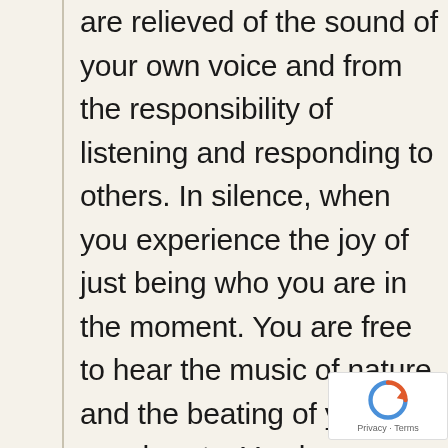are relieved of the sound of your own voice and from the responsibility of listening and responding to others. In silence, when you experience the joy of just being who you are in the moment. You are free to hear the music of nature and the beating of your own hearts. You become more attuned to the world around you, and you reconnect with the Divine presence. In silence you are
[Figure (other): reCAPTCHA badge with spinning arrow icon and Privacy - Terms links]